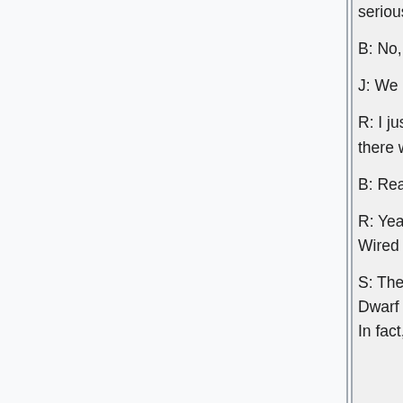seriously is proposing that.
B: No, it's pathetic.
J: We don't need to talk about that anymore anyway. Come on, guys.
R: I just want to mention that just today there was a report released saying that there was no link between cosmic rays and global warming.
B: Really?
R: Yeah, in fact Fraser Cain, who does the Astronomy Cast wrote an article for Wired Science and we can have the link on the news page.
S: The core claim that the sun in our solar system came from the Sagittarius Dwarf Galaxy and is not native to the Milky Way has been thoroughly debunked. In fact, Phil Plait, the Bad